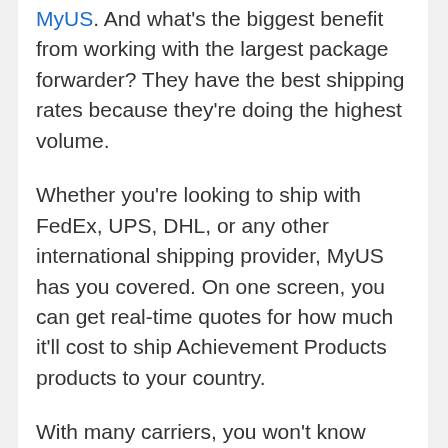MyUS. And what's the biggest benefit from working with the largest package forwarder? They have the best shipping rates because they're doing the highest volume.
Whether you're looking to ship with FedEx, UPS, DHL, or any other international shipping provider, MyUS has you covered. On one screen, you can get real-time quotes for how much it'll cost to ship Achievement Products products to your country.
With many carriers, you won't know precisely how much the final shipping charges will be until you've bought your items and shipped them to the package forwarder's warehouse. But because MyUS does weight-based pricing